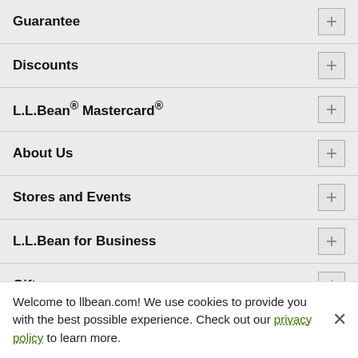Guarantee
Discounts
L.L.Bean® Mastercard®
About Us
Stores and Events
L.L.Bean for Business
Gifts
Explore the Outdoors
Sign Up for Email
Welcome to llbean.com! We use cookies to provide you with the best possible experience. Check out our privacy policy to learn more.